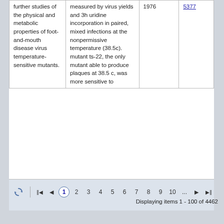|  |  | Year | Ref |
| --- | --- | --- | --- |
| further studies of the physical and metabolic properties of foot-and-mouth disease virus temperature-sensitive mutants. | measured by virus yields and 3h uridine incorporation in paired, mixed infections at the nonpermissive temperature (38.5c). mutant ts-22, the only mutant able to produce plaques at 38.5 c, was more sensitive to | 1976 | 5377 |
Displaying items 1 - 100 of 4462